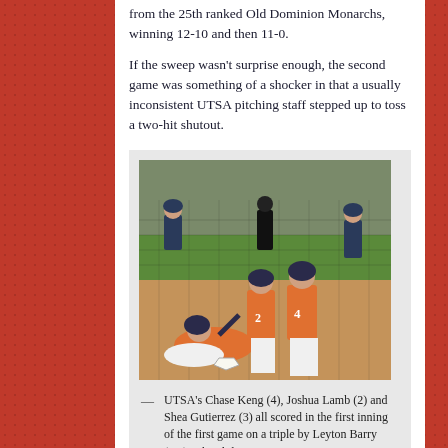from the 25th ranked Old Dominion Monarchs, winning 12-10 and then 11-0.
If the sweep wasn't surprise enough, the second game was something of a shocker in that a usually inconsistent UTSA pitching staff stepped up to toss a two-hit shutout.
[Figure (photo): Baseball game photo showing UTSA players in orange uniforms. A player slides into home plate while teammates wearing numbers 2 and 4 watch. Other players and an umpire are visible in the background on the field.]
— UTSA's Chase Keng (4), Joshua Lamb (2) and Shea Gutierrez (3) all scored in the first inning of the first game on a triple by Leyton Barry (top), who slides into